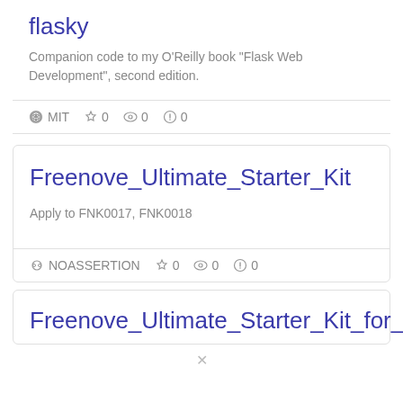flasky
Companion code to my O'Reilly book "Flask Web Development", second edition.
MIT ☆ 0 👁 0 ⚠ 0
Freenove_Ultimate_Starter_Kit
Apply to FNK0017, FNK0018
NOASSERTION ☆ 0 👁 0 ⚠ 0
Freenove_Ultimate_Starter_Kit_for_Ras...